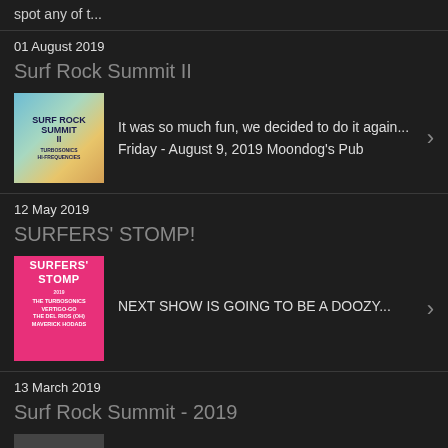spot any of t...
01 August 2019
Surf Rock Summit II
It was so much fun, we decided to do it again... Friday - August 9, 2019 Moondog's Pub
12 May 2019
SURFERS' STOMP!
NEXT SHOW IS GOING TO BE A DOOZY...
13 March 2019
Surf Rock Summit - 2019
The Turbosonics headline this surf rock showdown at Pittsburgh's historic Moondogs Pub!